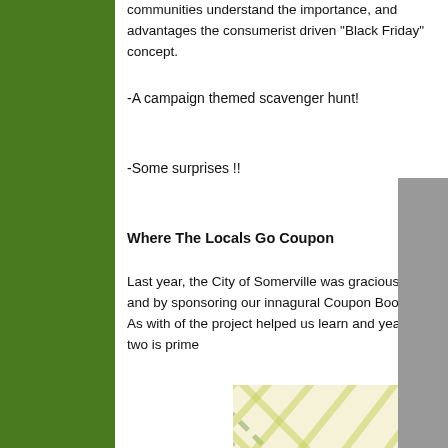communities understand the importance, and advantages the consumerist driven "Black Friday" concept.
-A campaign themed scavenger hunt!
-Some surprises  !!
Where The Locals Go Coupon
Last year, the City of Somerville was gracious and by sponsoring our innagural Coupon Book.  As with of the project helped us learn and year two is prime
[Figure (photo): Cover of 'Shifting in Somerville: A Coupon Book for Local Independent Businesses' with a yellow and green plaid pattern background and a Somerville Local First circular badge.]